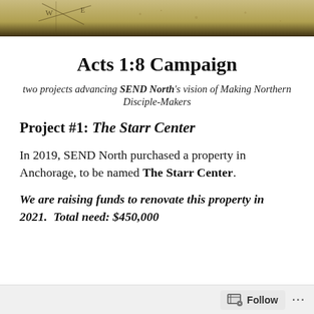[Figure (illustration): Top banner image showing a map/terrain background in brown and golden tones with some markings]
Acts 1:8 Campaign
two projects advancing SEND North's vision of Making Northern Disciple-Makers
Project #1: The Starr Center
In 2019, SEND North purchased a property in Anchorage, to be named The Starr Center.
We are raising funds to renovate this property in 2021.  Total need: $450,000
Follow ...